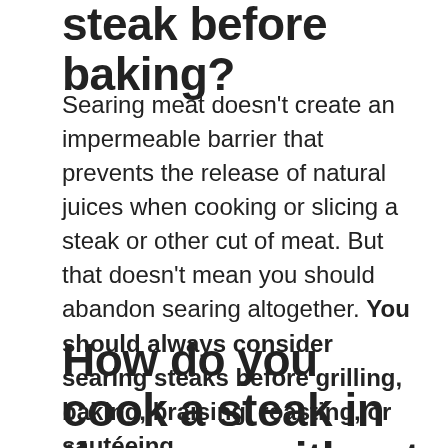steak before baking?
Searing meat doesn't create an impermeable barrier that prevents the release of natural juices when cooking or slicing a steak or other cut of meat. But that doesn't mean you should abandon searing altogether. You should always consider searing steaks before grilling, baking, braising, roasting, or sautéeing.
How do you cook a steak in the oven without a cast iron